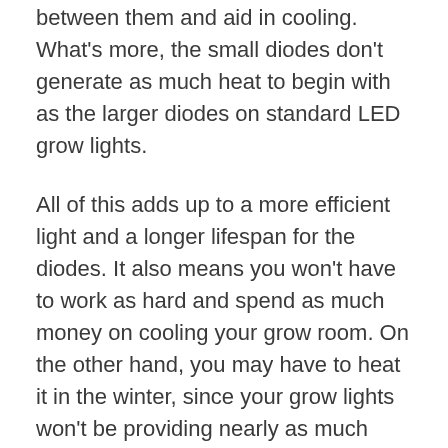between them and aid in cooling. What's more, the small diodes don't generate as much heat to begin with as the larger diodes on standard LED grow lights.
All of this adds up to a more efficient light and a longer lifespan for the diodes. It also means you won't have to work as hard and spend as much money on cooling your grow room. On the other hand, you may have to heat it in the winter, since your grow lights won't be providing nearly as much heat anymore.
Disadvantages